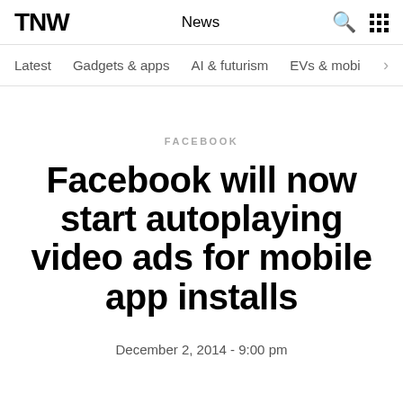TNW | News
Latest  Gadgets & apps  AI & futurism  EVs & mobi
FACEBOOK
Facebook will now start autoplaying video ads for mobile app installs
December 2, 2014 - 9:00 pm